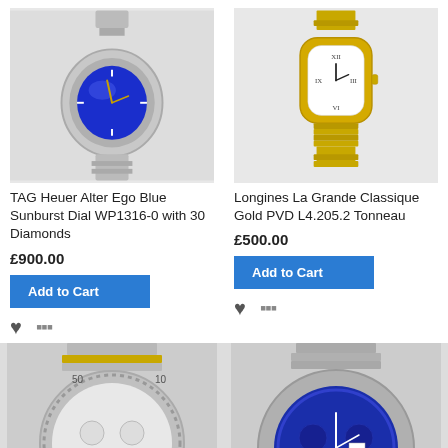[Figure (photo): TAG Heuer Alter Ego watch with blue sunburst dial and silver bracelet with diamonds]
TAG Heuer Alter Ego Blue Sunburst Dial WP1316-0 with 30 Diamonds
£900.00
[Figure (photo): Longines La Grande Classique watch with gold PVD case and bracelet, white dial]
Longines La Grande Classique Gold PVD L4.205.2 Tonneau
£500.00
[Figure (photo): Partial view of a two-tone chronograph watch with silver and gold bracelet]
[Figure (photo): Partial view of a chronograph watch with blue dial and silver bracelet]